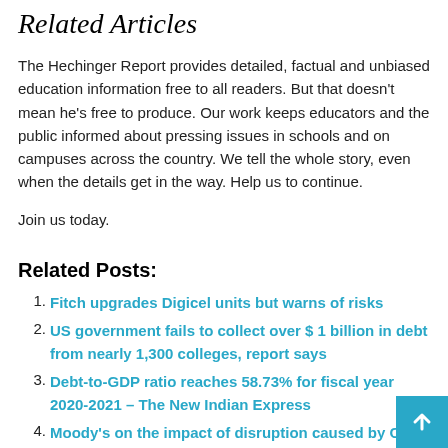Related Articles
The Hechinger Report provides detailed, factual and unbiased education information free to all readers. But that doesn't mean he's free to produce. Our work keeps educators and the public informed about pressing issues in schools and on campuses across the country. We tell the whole story, even when the details get in the way. Help us to continue.
Join us today.
Related Posts:
Fitch upgrades Digicel units but warns of risks
US government fails to collect over $ 1 billion in debt from nearly 1,300 colleges, report says
Debt-to-GDP ratio reaches 58.73% for fiscal year 2020-2021 – The New Indian Express
Moody's on the impact of disruption caused by Cov…